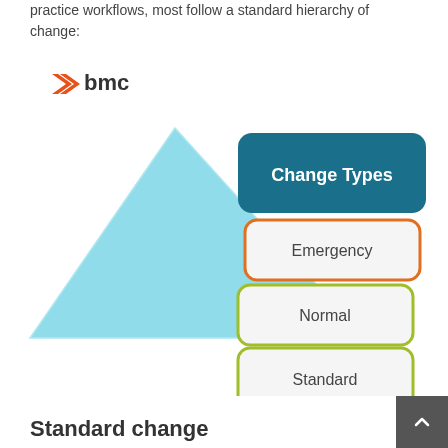practice workflows, most follow a standard hierarchy of change:
[Figure (infographic): BMC logo with a pyramid diagram showing Change Types hierarchy. The pyramid (light blue) has three labeled boxes stacked on the right side: 'Change Types' (dark teal box at top), 'Emergency' (orange-bordered box), 'Normal' (yellow-green bordered box), and 'Standard' (yellow-green bordered box at bottom).]
Standard change